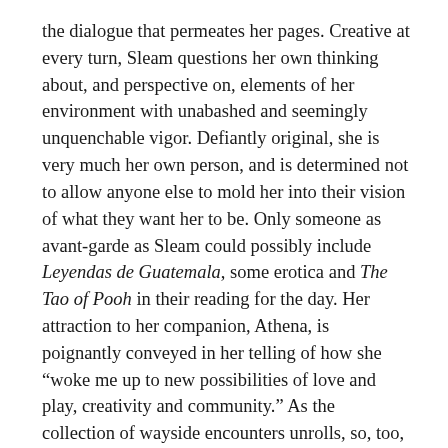the dialogue that permeates her pages. Creative at every turn, Sleam questions her own thinking about, and perspective on, elements of her environment with unabashed and seemingly unquenchable vigor. Defiantly original, she is very much her own person, and is determined not to allow anyone else to mold her into their vision of what they want her to be. Only someone as avant-garde as Sleam could possibly include Leyendas de Guatemala, some erotica and The Tao of Pooh in their reading for the day. Her attraction to her companion, Athena, is poignantly conveyed in her telling of how she “woke me up to new possibilities of love and play, creativity and community.” As the collection of wayside encounters unrolls, so, too, does Sleam’s involvement with past affairs, but done in such a tasteful way that it could not give offence to anyone.
In short, Random Tales: Out on the Road requires that